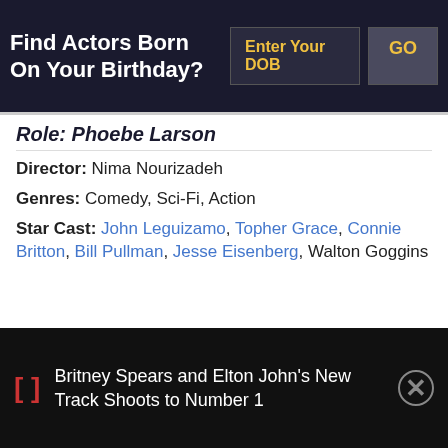Find Actors Born On Your Birthday?
Role: Phoebe Larson
Director: Nima Nourizadeh
Genres: Comedy, Sci-Fi, Action
Star Cast: John Leguizamo, Topher Grace, Connie Britton, Bill Pullman, Jesse Eisenberg, Walton Goggins
18. Zathura: A Space Adventure (2005)
Britney Spears and Elton John's New Track Shoots to Number 1